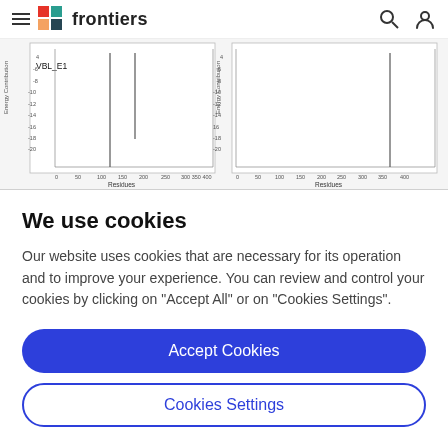frontiers
[Figure (continuous-plot): Two energy contribution vs residues plots side by side. Left plot labeled VBL_E1, axes show Energy Contribution (-20 to 4) vs Residues (0 to 400). Right plot shows similar axes. Both show sparse vertical line data.]
We use cookies
Our website uses cookies that are necessary for its operation and to improve your experience. You can review and control your cookies by clicking on "Accept All" or on "Cookies Settings".
Accept Cookies
Cookies Settings